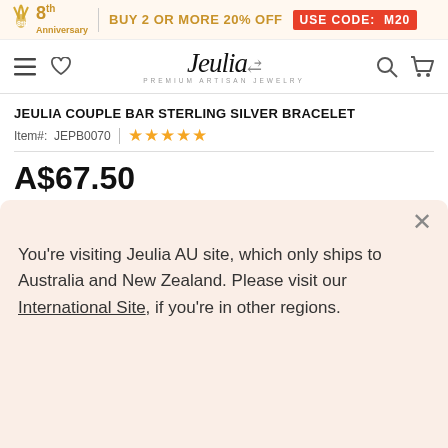8th Anniversary | BUY 2 OR MORE 20% OFF USE CODE: M20
[Figure (screenshot): Jeulia navigation bar with hamburger menu, heart icon, Jeulia logo (Premium Artisan Jewelry), search and cart icons]
JEULIA COUPLE BAR STERLING SILVER BRACELET
Item#: JEPB0070  ★★★★★
A$67.50
Interest-free payment with AfterPay ?
[Figure (infographic): 8th Anniversary promotional banner: Buy 2 Or More 20% OFF, USE CODE: M20 — 8th Anniversary Sale >>]
You're visiting Jeulia AU site, which only ships to Australia and New Zealand. Please visit our International Site, if you're in other regions.